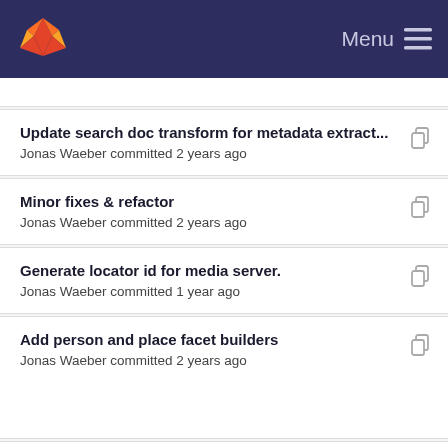GitLab Menu
Update search doc transform for metadata extract... Jonas Waeber committed 2 years ago
Minor fixes & refactor Jonas Waeber committed 2 years ago
Generate locator id for media server. Jonas Waeber committed 1 year ago
Add person and place facet builders Jonas Waeber committed 2 years ago
Implement instantiation items (excluding digital e... Jonas Waeber committed 2 years ago
Add reuse statements as csv file. Jonas Waeber committed 1 year ago